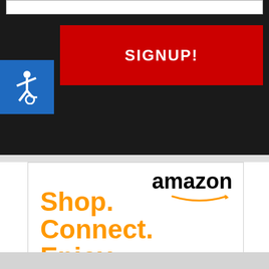[Figure (screenshot): Dark navigation bar with a white input field at top and a red SIGNUP! button below]
SIGNUP!
[Figure (illustration): Accessibility wheelchair icon on blue background]
[Figure (other): Amazon advertisement: Amazon logo with smile, orange text Shop. Connect. Enjoy., subtext All from Earth's biggest selection, Shop now link, Privacy label]
amazon Shop. Connect. Enjoy. All from Earth's biggest selection Shop now ▸ Privacy